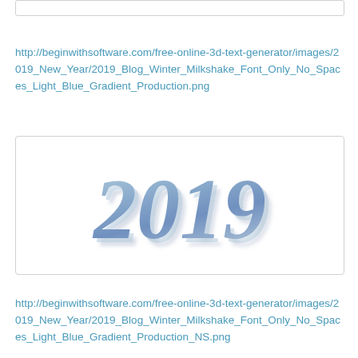[Figure (screenshot): Partial image box visible at top of page, white background with light gray border]
http://beginwithsoftware.com/free-online-3d-text-generator/images/2019_New_Year/2019_Blog_Winter_Milkshake_Font_Only_No_Spaces_Light_Blue_Gradient_Production.png
[Figure (illustration): Image showing '2019' in large 3D italic script font with light blue gradient, white background]
http://beginwithsoftware.com/free-online-3d-text-generator/images/2019_New_Year/2019_Blog_Winter_Milkshake_Font_Only_No_Spaces_Light_Blue_Gradient_Production_NS.png